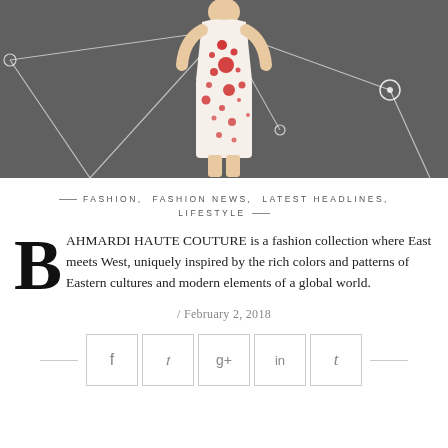[Figure (photo): Fashion model wearing a white dress with red dot/circle pattern, standing in front of a dark gray background with white geometric network lines connecting circles.]
— FASHION, FASHION NEWS, LATEST HEADLINES, LIFESTYLE —
BAHMARDI HAUTE COUTURE is a fashion collection where East meets West, uniquely inspired by the rich colors and patterns of Eastern cultures and modern elements of a global world.
/ February 2, 2018